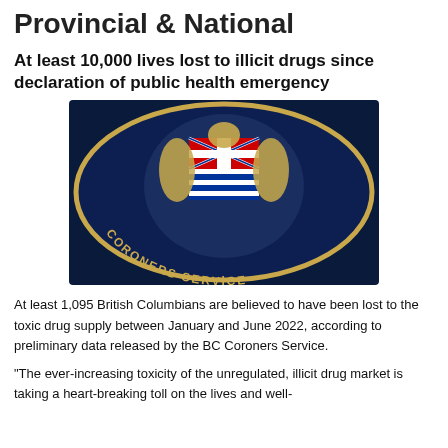Provincial & National
At least 10,000 lives lost to illicit drugs since declaration of public health emergency
[Figure (photo): Circular embroidered patch of the BC Coroners Service featuring the British Columbia coat of arms on a dark navy background with gold lettering reading 'CORONERS SERVICE']
At least 1,095 British Columbians are believed to have been lost to the toxic drug supply between January and June 2022, according to preliminary data released by the BC Coroners Service.
“The ever-increasing toxicity of the unregulated, illicit drug market is taking a heart-breaking toll on the lives and well-